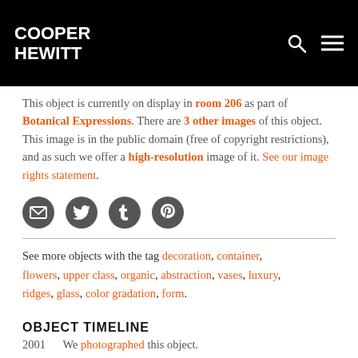COOPER HEWITT
This object is currently on display in room 206 as part of Botanical Expressions. There are 3 other images of this object. This image is in the public domain (free of copyright restrictions), and as such we offer a high-resolution image of it. See our image rights statement.
[Figure (infographic): Row of four social sharing icons: email (envelope), Twitter, Tumblr, Pinterest — dark gray circles with white symbols]
See more objects with the tag decoration, container, flowers, upper class, organic, abstraction, vases, luxury, ridges, glass, color gradation, form.
OBJECT TIMELINE
2001 We photographed this object.